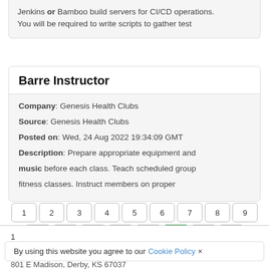Jenkins or Bamboo build servers for CI/CD operations. You will be required to write scripts to gather test
Barre Instructor
Company: Genesis Health Clubs
Source: Genesis Health Clubs
Posted on: Wed, 24 Aug 2022 19:34:09 GMT
Description: Prepare appropriate equipment and music before each class. Teach scheduled group fitness classes. Instruct members on proper
1 2 3 4 5 6 7 8 9 10 11 12 13 14 15 16 17 Last Page
1
801 E Madison, Derby, KS 67037
By using this website you agree to our Cookie Policy ×